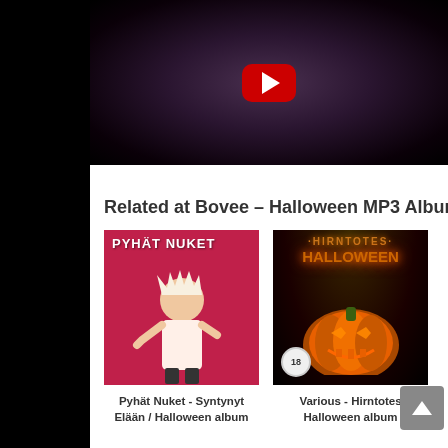[Figure (screenshot): YouTube video thumbnail showing a dark horror face with a red YouTube play button overlay]
Related at Bovee – Halloween MP3 Albums:
[Figure (photo): Album cover for Pyhät Nuket - Syntynyt Elään / Halloween album, red background with punk figures]
Pyhät Nuket - Syntynyt Elään / Halloween album
[Figure (photo): Album cover for Various - Hirntotes Halloween album, dark background with glowing jack-o-lantern pumpkin, 18 rating badge]
Various - Hirntotes Halloween album